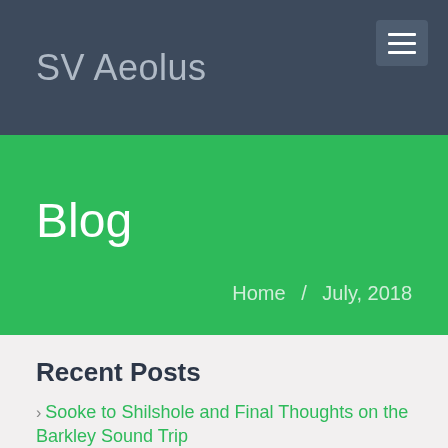SV Aeolus
Blog
Home / July, 2018
Recent Posts
› Sooke to Shilshole and Final Thoughts on the Barkley Sound Trip